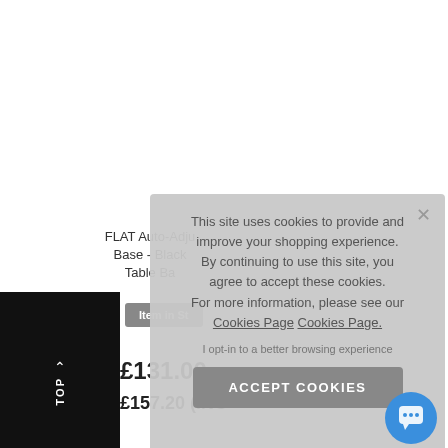FLAT Auto-Adju Base - Black Table Ba
Item in St
£131.00 (E
£157.20 (INC
This site uses cookies to provide and improve your shopping experience. By continuing to use this site, you agree to accept these cookies. For more information, please see our Cookies Page Cookies Page.
I opt-in to a better browsing experience
ACCEPT COOKIES